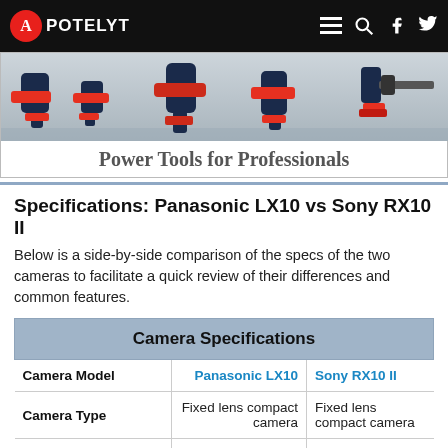APOTELYT
[Figure (photo): Banner advertisement showing power tools (drills) on a light gray surface, with text 'Power Tools for Professionals']
Power Tools for Professionals
Specifications: Panasonic LX10 vs Sony RX10 II
Below is a side-by-side comparison of the specs of the two cameras to facilitate a quick review of their differences and common features.
| Camera Specifications |  |  |
| --- | --- | --- |
| Camera Model | Panasonic LX10 | Sony RX10 II |
| Camera Type | Fixed lens compact camera | Fixed lens compact camera |
| Camera Lens | 24-72mm f/1.4-2.8 | 24-200mm f/2.8 |